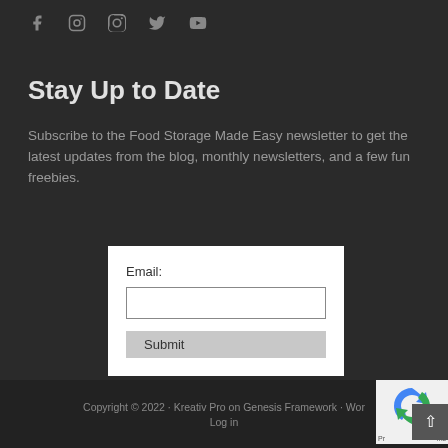[Figure (other): Social media icons: Facebook, Instagram, Pinterest, Twitter, YouTube]
Stay Up to Date
Subscribe to the Food Storage Made Easy newsletter to get the latest updates from the blog, monthly newsletters, and a few fun freebies.
[Figure (screenshot): Email subscription form with Email label, text input field, and Submit button on white background]
Copyright © 2022 · Kreativ Pro on Genesis Framework · Wor... · Log in